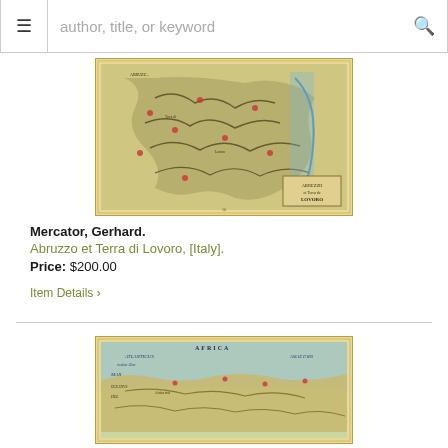author, title, or keyword [search bar with hamburger menu]
[Figure (map): Antique colored map of Abruzzo et Terra di Lovoro, Italy by Mercator. Map shows mountainous terrain with decorative border, cartouche in lower right reading 'Abrezzo et Terra de Lovoro'.]
Mercator, Gerhard.
Abruzzo et Terra di Lovoro, [Italy].
Price: $200.00
Item Details ›
[Figure (map): Antique colored map showing North Africa and Mediterranean region, with text 'ATLANTICUS', 'AFRICUS', 'MAR', 'OCEANVS', 'DEL', 'ASIAE PARS' visible. Decorative border with yellowed parchment coloring.]